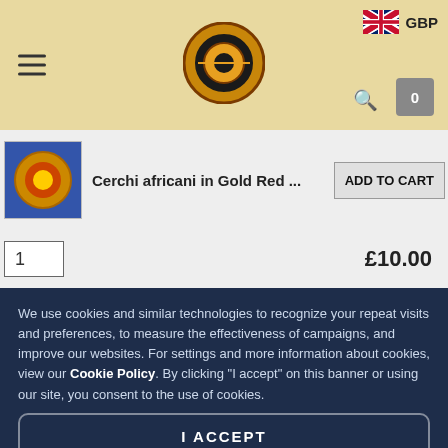[Figure (screenshot): Website header with hamburger menu, circular logo, UK flag with GBP currency label, search icon, and cart button (0) on a beige/tan background]
Cerchi africani in Gold Red ...
ADD TO CART
1
£10.00
We use cookies and similar technologies to recognize your repeat visits and preferences, to measure the effectiveness of campaigns, and improve our websites. For settings and more information about cookies, view our Cookie Policy. By clicking "I accept" on this banner or using our site, you consent to the use of cookies.
I ACCEPT